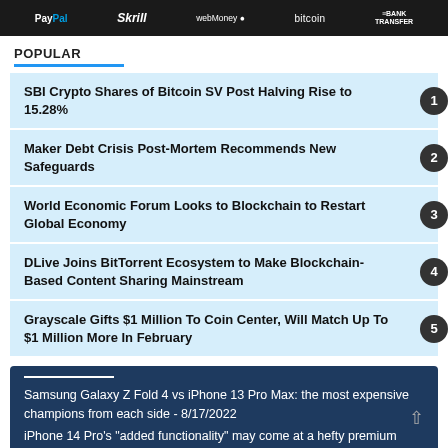[Figure (infographic): Payment method banner showing PayPal, Skrill, WebMoney, bitcoin, and BANK TRANSFER logos on dark background]
POPULAR
SBI Crypto Shares of Bitcoin SV Post Halving Rise to 15.28%
Maker Debt Crisis Post-Mortem Recommends New Safeguards
World Economic Forum Looks to Blockchain to Restart Global Economy
DLive Joins BitTorrent Ecosystem to Make Blockchain-Based Content Sharing Mainstream
Grayscale Gifts $1 Million To Coin Center, Will Match Up To $1 Million More In February
Samsung Galaxy Z Fold 4 vs iPhone 13 Pro Max: the most expensive champions from each side - 8/17/2022
iPhone 14 Pro's "added functionality" may come at a hefty premium